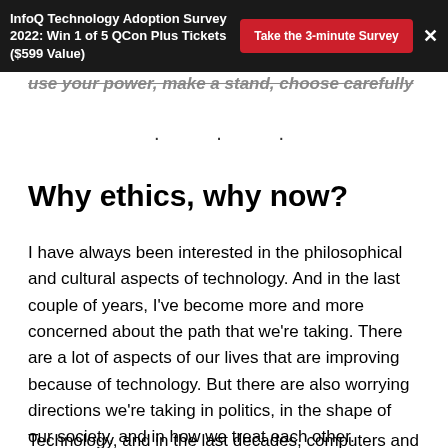InfoQ Technology Adoption Survey 2022: Win 1 of 5 QCon Plus Tickets ($599 Value)   Take the 3-minute Survey   ×
use your power, make a stand, choose carefully
* * *
Why ethics, why now?
I have always been interested in the philosophical and cultural aspects of technology. And in the last couple of years, I've become more and more concerned about the path that we're taking. There are a lot of aspects of our lives that are improving because of technology. But there are also worrying directions we're taking in politics, in the shape of our society, and in how we treat each other.
Technology, and in the last decades, computers and